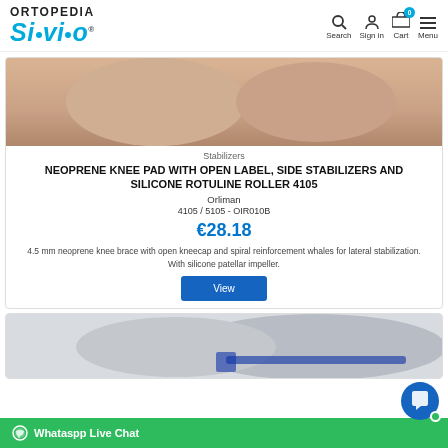ORTOPEDIA Silvio® — Search, Sign in, Cart (0), Menu
[Figure (photo): Close-up photo of a person's bare knees/legs, used as product image for knee pad]
Stabilizers
NEOPRENE KNEE PAD WITH OPEN LABEL, SIDE STABILIZERS AND SILICONE ROTULINE ROLLER 4105
Orliman
4105 / 5105 - OIR010B
€28.18
4.5 mm neoprene knee brace with open kneecap and spiral reinforcement whales for lateral stabilization. With silicone patellar impeller.
[Figure (photo): Partial photo of a person's leg/knee area wearing a knee stabilizer product, shown at bottom of page]
Whataspp Live Chat